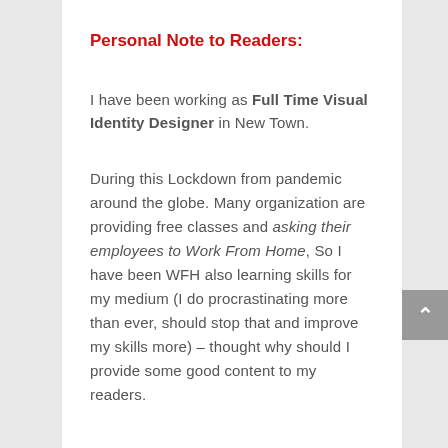Personal Note to Readers:
I have been working as Full Time Visual Identity Designer in New Town.
During this Lockdown from pandemic around the globe. Many organization are providing free classes and asking their employees to Work From Home, So I have been WFH also learning skills for my medium (I do procrastinating more than ever, should stop that and improve my skills more) – thought why should I provide some good content to my readers.